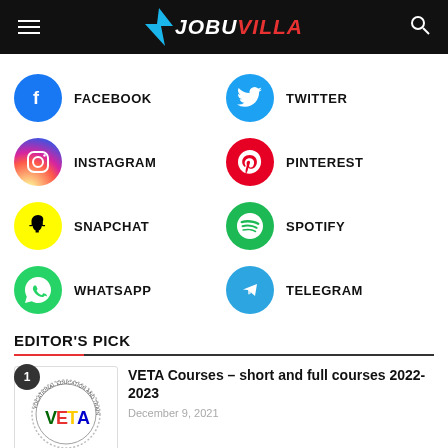JOBUVILLA
FACEBOOK
TWITTER
INSTAGRAM
PINTEREST
SNAPCHAT
SPOTIFY
WHATSAPP
TELEGRAM
EDITOR'S PICK
VETA Courses – short and full courses 2022-2023
December 9, 2021